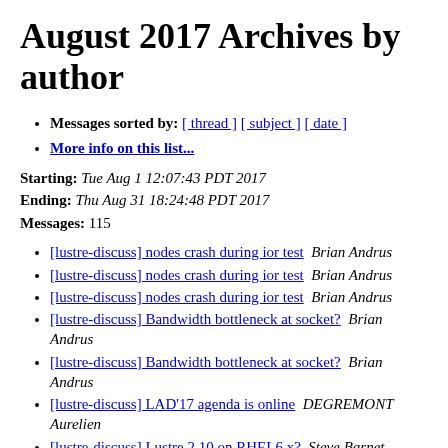August 2017 Archives by author
Messages sorted by: [ thread ] [ subject ] [ date ]
More info on this list...
Starting: Tue Aug 1 12:07:43 PDT 2017
Ending: Thu Aug 31 18:24:48 PDT 2017
Messages: 115
[lustre-discuss] nodes crash during ior test  Brian Andrus
[lustre-discuss] nodes crash during ior test  Brian Andrus
[lustre-discuss] nodes crash during ior test  Brian Andrus
[lustre-discuss] Bandwidth bottleneck at socket?  Brian Andrus
[lustre-discuss] Bandwidth bottleneck at socket?  Brian Andrus
[lustre-discuss] LAD'17 agenda is online  DEGREMONT Aurelien
[lustre-discuss] Lustre 2.10 on RHEL6.x?  Steve Barnet
[lustre-discuss] sudden read performance drop on sequential forward read.  John Bauer
[lustre-discuss] Lustre Performance Test  Gavin Malcolm